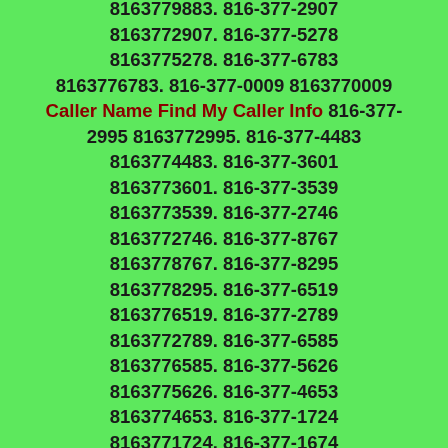8163779883. 816-377-2907 8163772907. 816-377-5278 8163775278. 816-377-6783 8163776783. 816-377-0009 8163770009 Caller Name Find My Caller Info 816-377-2995 8163772995. 816-377-4483 8163774483. 816-377-3601 8163773601. 816-377-3539 8163773539. 816-377-2746 8163772746. 816-377-8767 8163778767. 816-377-8295 8163778295. 816-377-6519 8163776519. 816-377-2789 8163772789. 816-377-6585 8163776585. 816-377-5626 8163775626. 816-377-4653 8163774653. 816-377-1724 8163771724. 816-377-1674 8163771674. 816-377-0088 8163770088.  816-377-9660 8163779660. 816-377-6870 8163776870. 816-377-7487 8163777487. 816-377-6937 8163776937. 816-377-9495 8163779495. 816-377-3898 8163773898. 816-377-7855